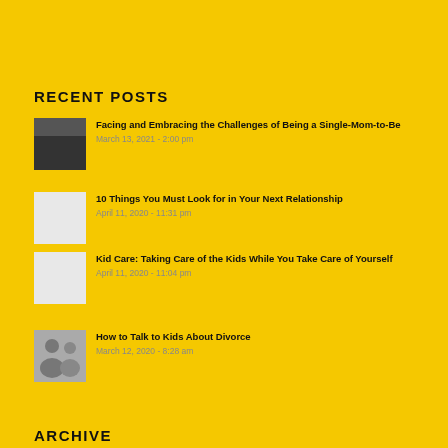RECENT POSTS
Facing and Embracing the Challenges of Being a Single-Mom-to-Be
March 13, 2021 - 2:00 pm
10 Things You Must Look for in Your Next Relationship
April 11, 2020 - 11:31 pm
Kid Care: Taking Care of the Kids While You Take Care of Yourself
April 11, 2020 - 11:04 pm
How to Talk to Kids About Divorce
March 12, 2020 - 8:28 am
ARCHIVE